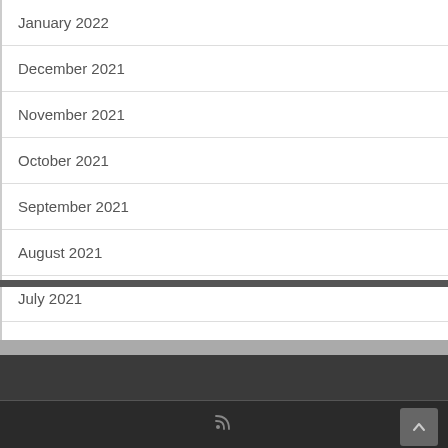January 2022
December 2021
November 2021
October 2021
September 2021
August 2021
July 2021
January 2021